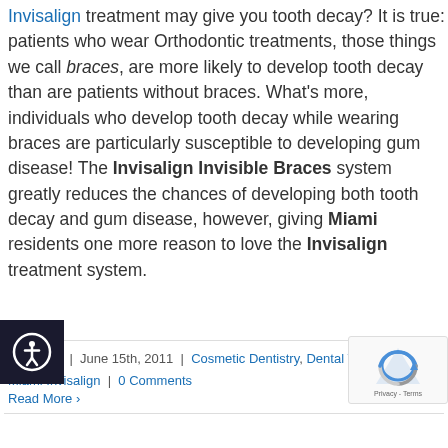Invisalign treatment may give you tooth decay? It is true: patients who wear Orthodontic treatments, those things we call braces, are more likely to develop tooth decay than are patients without braces. What's more, individuals who develop tooth decay while wearing braces are particularly susceptible to developing gum disease! The Invisalign Invisible Braces system greatly reduces the chances of developing both tooth decay and gum disease, however, giving Miami residents one more reason to love the Invisalign treatment system.
By admin | June 15th, 2011 | Cosmetic Dentistry, Dental Technology, Miami Invisalign | 0 Comments
Read More ›